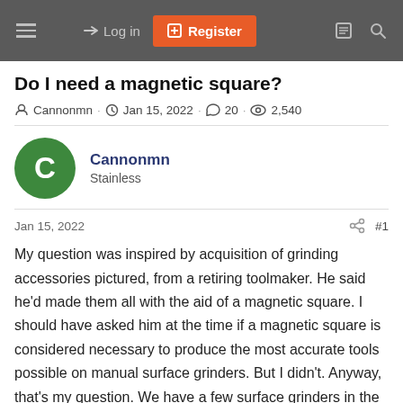≡  → Log in  [+] Register
Do I need a magnetic square?
Cannonmn · Jan 15, 2022 · 20 · 2,540
Cannonmn
Stainless
Jan 15, 2022  #1
My question was inspired by acquisition of grinding accessories pictured, from a retiring toolmaker. He said he'd made them all with the aid of a magnetic square. I should have asked him at the time if a magnetic square is considered necessary to produce the most accurate tools possible on manual surface grinders. But I didn't. Anyway, that's my question. We have a few surface grinders in the shop but haven't used them much, but